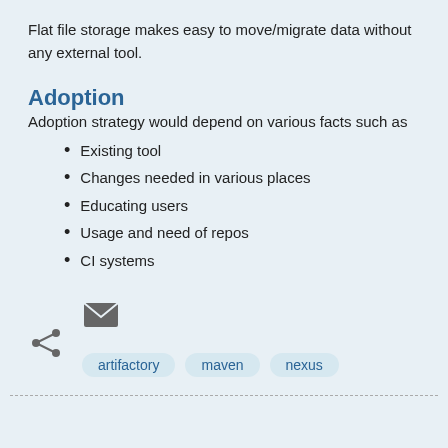Flat file storage makes easy to move/migrate data without any external tool.
Adoption
Adoption strategy would depend on various facts such as
Existing tool
Changes needed in various places
Educating users
Usage and need of repos
CI systems
[Figure (infographic): Social sharing icons: email (envelope) icon and share icon]
artifactory   maven   nexus